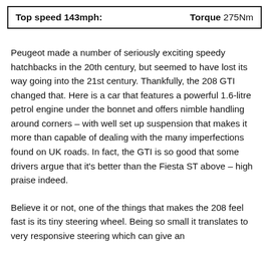Top speed 143mph:    Torque 275Nm
Peugeot made a number of seriously exciting speedy hatchbacks in the 20th century, but seemed to have lost its way going into the 21st century. Thankfully, the 208 GTI changed that. Here is a car that features a powerful 1.6-litre petrol engine under the bonnet and offers nimble handling around corners – with well set up suspension that makes it more than capable of dealing with the many imperfections found on UK roads. In fact, the GTI is so good that some drivers argue that it's better than the Fiesta ST above – high praise indeed.
Believe it or not, one of the things that makes the 208 feel fast is its tiny steering wheel. Being so small it translates to very responsive steering which can give an